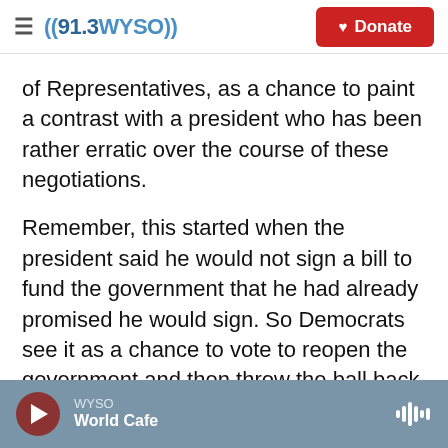((91.3 WYSO)) | Donate
of Representatives, as a chance to paint a contrast with a president who has been rather erratic over the course of these negotiations.
Remember, this started when the president said he would not sign a bill to fund the government that he had already promised he would sign. So Democrats see it as a chance to vote to reopen the government and then throw the ball back into the president's court.
KING: So in this briefing today, do we have a sense of whether Democrats are entering into it in a
WYSO | World Cafe